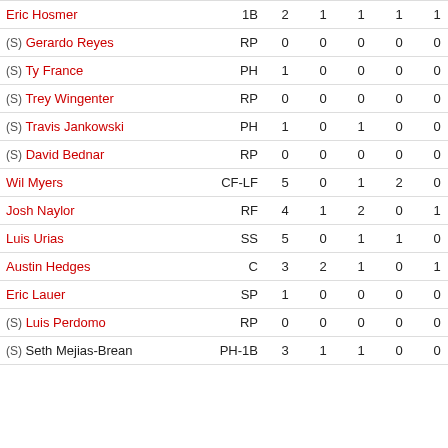| Player | Pos | AB | R | H | RBI | BB | SO | AVG |
| --- | --- | --- | --- | --- | --- | --- | --- | --- |
| Eric Hosmer | 1B | 2 | 1 | 1 | 1 | 1 | 0 | .278 |
| (S) Gerardo Reyes | RP | 0 | 0 | 0 | 0 | 0 | 0 | .000 |
| (S) Ty France | PH | 1 | 0 | 0 | 0 | 0 | 0 | .233 |
| (S) Trey Wingenter | RP | 0 | 0 | 0 | 0 | 0 | 0 | .000 |
| (S) Travis Jankowski | PH | 1 | 0 | 1 | 0 | 0 | 0 | .182 |
| (S) David Bednar | RP | 0 | 0 | 0 | 0 | 0 | 0 | .000 |
| Wil Myers | CF-LF | 5 | 0 | 1 | 2 | 0 | 1 | .243 |
| Josh Naylor | RF | 4 | 1 | 2 | 0 | 1 | 0 | .255 |
| Luis Urias | SS | 5 | 0 | 1 | 1 | 0 | 0 | .216 |
| Austin Hedges | C | 3 | 2 | 1 | 0 | 1 | 1 | .185 |
| Eric Lauer | SP | 1 | 0 | 0 | 0 | 0 | 0 | .081 |
| (S) Luis Perdomo | RP | 0 | 0 | 0 | 0 | 0 | 0 | .143 |
| (S) Seth Mejias-Brean | PH-1B | 3 | 1 | 1 | 0 | 0 | 1 | .200 |